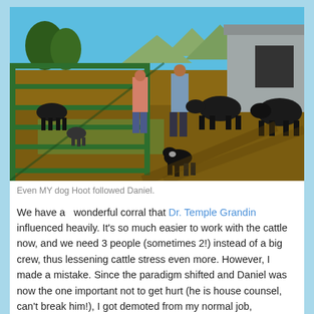[Figure (photo): Two people working cattle in a corral with a green metal gate in the foreground. Several black cattle visible, a grey barn in the background, mountains and trees in the distance under a clear blue sky. A black and white dog follows in the foreground.]
Even MY dog Hoot followed Daniel.
We have a  wonderful corral that Dr. Temple Grandin influenced heavily. It's so much easier to work with the cattle now, and we need 3 people (sometimes 2!) instead of a big crew, thus lessening cattle stress even more. However, I made a mistake. Since the paradigm shifted and Daniel was now the one important not to get hurt (he is house counsel, can't break him!), I got demoted from my normal job,